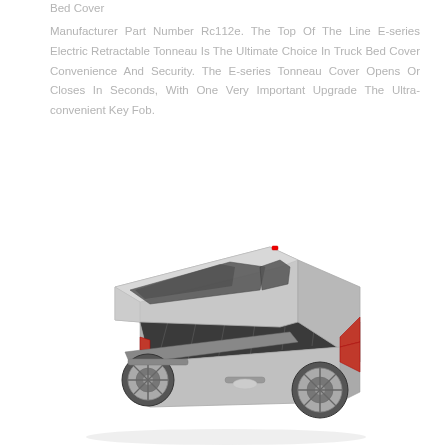Bed Cover
Manufacturer Part Number Rc112e. The Top Of The Line E-series Electric Retractable Tonneau Is The Ultimate Choice In Truck Bed Cover Convenience And Security. The E-series Tonneau Cover Opens Or Closes In Seconds, With One Very Important Upgrade The Ultra-convenient Key Fob.
[Figure (photo): Silver pickup truck (Ford F-series) with a retractable tonneau bed cover partially open, shown from a rear three-quarter angle view on a white background.]